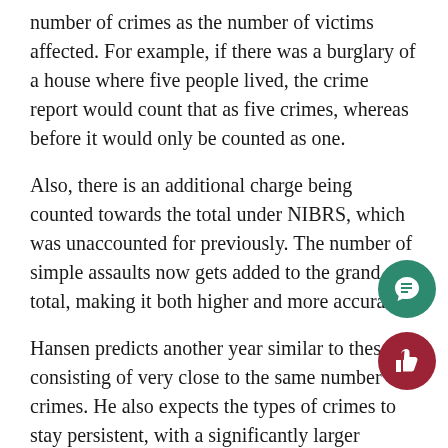number of crimes as the number of victims affected. For example, if there was a burglary of a house where five people lived, the crime report would count that as five crimes, whereas before it would only be counted as one.
Also, there is an additional charge being counted towards the total under NIBRS, which was unaccounted for previously. The number of simple assaults now gets added to the grand total, making it both higher and more accurate.
Hansen predicts another year similar to these, consisting of very close to the same number of crimes. He also expects the types of crimes to stay persistent, with a significantly larger amount of property crime than violent crime.
The most common crimes in MLT in 2012 were burglary and larceny.
Mountlake Terrace is a “bedroom community”, meaning